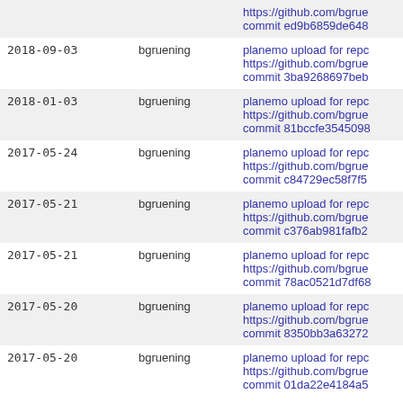|  |  | https://github.com/bgrue commit ed9b6859de648 |
| 2018-09-03 | bgruening | planemo upload for repo https://github.com/bgrue commit 3ba9268697beb |
| 2018-01-03 | bgruening | planemo upload for repo https://github.com/bgrue commit 81bccfe3545098 |
| 2017-05-24 | bgruening | planemo upload for repo https://github.com/bgrue commit c84729ec58f7f5 |
| 2017-05-21 | bgruening | planemo upload for repo https://github.com/bgrue commit c376ab981fafb2 |
| 2017-05-21 | bgruening | planemo upload for repo https://github.com/bgrue commit 78ac0521d7df68 |
| 2017-05-20 | bgruening | planemo upload for repo https://github.com/bgrue commit 8350bb3a63272 |
| 2017-05-20 | bgruening | planemo upload for repo https://github.com/bgrue commit 01da22e4184a5 |
No more
less more | rev 14: (0) tip